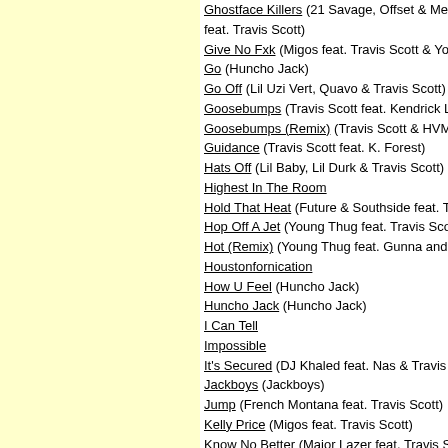Ghostface Killers (21 Savage, Offset & Metro Boo feat. Travis Scott)
Give No Fxk (Migos feat. Travis Scott & Young Th
Go (Huncho Jack)
Go Off (Lil Uzi Vert, Quavo & Travis Scott)
Goosebumps (Travis Scott feat. Kendrick Lamar)
Goosebumps (Remix) (Travis Scott & HVME)
Guidance (Travis Scott feat. K. Forest)
Hats Off (Lil Baby, Lil Durk & Travis Scott)
Highest In The Room
Hold That Heat (Future & Southside feat. Travis S
Hop Off A Jet (Young Thug feat. Travis Scott)
Hot (Remix) (Young Thug feat. Gunna and Travis
Houstonfornication
How U Feel (Huncho Jack)
Huncho Jack (Huncho Jack)
I Can Tell
Impossible
It's Secured (DJ Khaled feat. Nas & Travis Scott)
Jackboys (Jackboys)
Jump (French Montana feat. Travis Scott)
Kelly Price (Migos feat. Travis Scott)
Know No Better (Major Lazer feat. Travis Scott, C Cabello & Quavo)
Legacy (Offset feat. Travis Scott & 21 Savage)
Let It Fly (Lil Wayne feat. Travis Scott)
Lithuania (Big Sean feat. Travis Scott)
Order by year
Add a song
ALBUMS BY TRAVIS SCOTT
Astroworld
Birds In The Trap Sing McKnight
Huncho Jack, Jack Huncho (Huncho Jack)